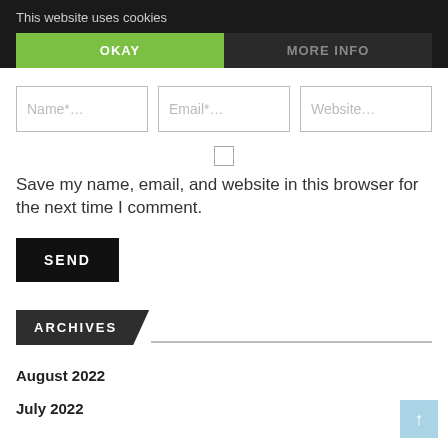This website uses cookies
OKAY
MORE INFO
Name*…
Email*…
Website…
Save my name, email, and website in this browser for the next time I comment.
SEND
ARCHIVES
August 2022
July 2022